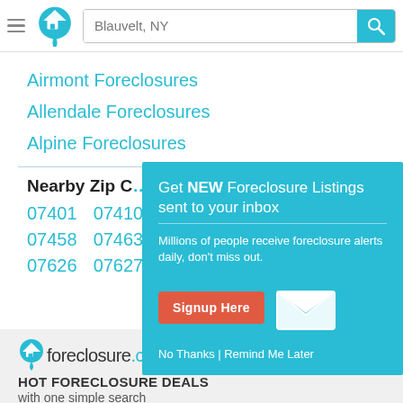Blauvelt, NY [search bar with logo]
Airmont Foreclosures
Allendale Foreclosures
Alpine Foreclosures
Nearby Zip C…
07401  07410
07458  07463
07626  07627
[Figure (infographic): Popup modal with teal background: 'Get NEW Foreclosure Listings sent to your inbox' headline, 'Millions of people receive foreclosure alerts daily, don't miss out.' subtext, red 'Signup Here' button, envelope icon, and 'No Thanks | Remind Me Later' links.]
foreclosure.com™ HOT FORECLOSURE DEALS with one simple search